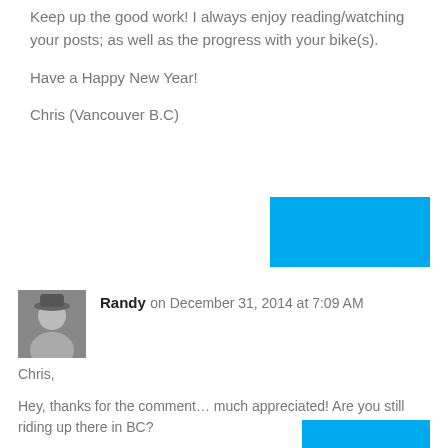Keep up the good work! I always enjoy reading/watching your posts; as well as the progress with your bike(s).

Have a Happy New Year!

Chris (Vancouver B.C)
[Figure (other): Blue reply button]
Randy on December 31, 2014 at 7:09 AM

Chris,

Hey, thanks for the comment… much appreciated! Are you still riding up there in BC?

Randy
[Figure (other): Blue reply button (partial, bottom of page)]